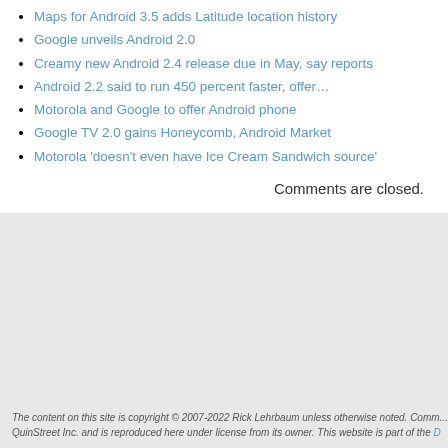Maps for Android 3.5 adds Latitude location history
Google unveils Android 2.0
Creamy new Android 2.4 release due in May, say reports
Android 2.2 said to run 450 percent faster, offer…
Motorola and Google to offer Android phone
Google TV 2.0 gains Honeycomb, Android Market
Motorola 'doesn't even have Ice Cream Sandwich source'
Comments are closed.
The content on this site is copyright © 2007-2022 Rick Lehrbaum unless otherwise noted. Comm... QuinStreet Inc. and is reproduced here under license from its owner. This website is part of the D...